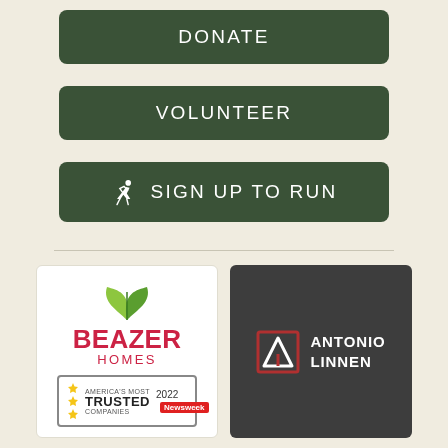[Figure (other): Dark green DONATE button]
[Figure (other): Dark green VOLUNTEER button]
[Figure (other): Dark green SIGN UP TO RUN button with runner icon]
[Figure (logo): Beazer Homes logo with America's Most Trusted Companies 2022 Newsweek badge]
[Figure (logo): Antonio Linnen logo on dark background]